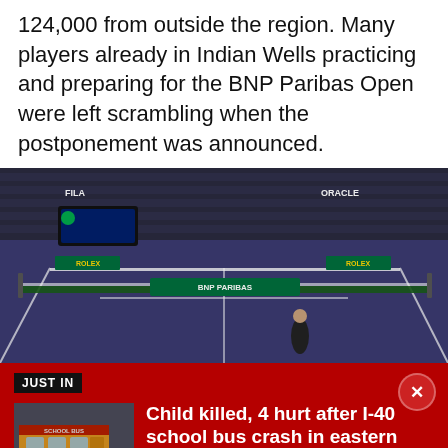124,000 from outside the region. Many players already in Indian Wells practicing and preparing for the BNP Paribas Open were left scrambling when the postponement was announced.
[Figure (photo): An empty tennis court at the BNP Paribas Open (Indian Wells), with BNP Paribas branding on the net and Rolex sponsor boards visible. The stadium seating is visible in the background. A lone person stands near the baseline.]
JUST IN
Child killed, 4 hurt after I-40 school bus crash in eastern Arizona
A child is dead and four other people were injured after their school bus was rear ended by a semi truck on Interstate 40 in eastern Arizona on Sunday.